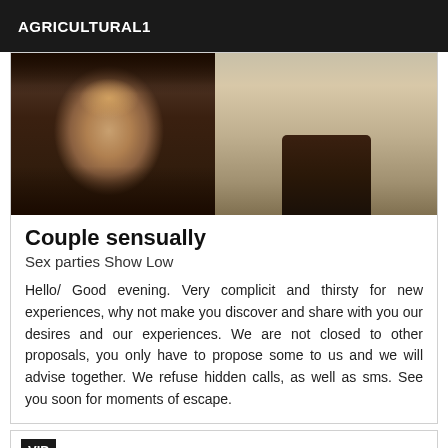AGRICULTURAL1
[Figure (photo): Two photos side by side: left photo shows a woman with long highlighted hair, right photo shows a person standing in a hallway wearing dark boots]
Couple sensually
Sex parties Show Low
Hello/ Good evening. Very complicit and thirsty for new experiences, why not make you discover and share with you our desires and our experiences. We are not closed to other proposals, you only have to propose some to us and we will advise together. We refuse hidden calls, as well as sms. See you soon for moments of escape.
VIP